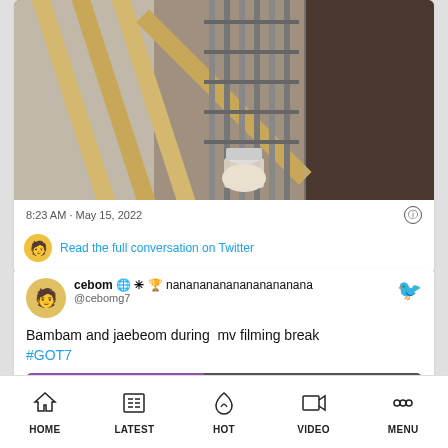[Figure (screenshot): Construction site photo embedded in a tweet, showing rebar cage and wooden formwork with a person visible]
8:23 AM · May 15, 2022
Read the full conversation on Twitter
cebom 🌐 ✳ 🏆 nanananananananananana
@cebomg7
Bambam and jaebeom during  mv filming break
#GOT7
[Figure (screenshot): Partial thumbnail preview of another image in the tweet]
HOME   LATEST   HOT   VIDEO   MENU